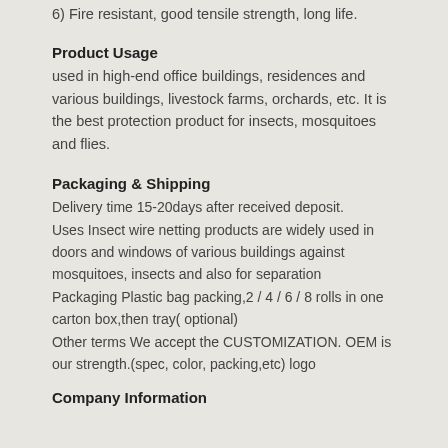6) Fire resistant, good tensile strength, long life.
Product Usage
used in high-end office buildings, residences and various buildings, livestock farms, orchards, etc. It is the best protection product for insects, mosquitoes and flies.
Packaging & Shipping
Delivery time 15-20days after received deposit.
Uses Insect wire netting products are widely used in doors and windows of various buildings against mosquitoes, insects and also for separation
Packaging Plastic bag packing,2 / 4 / 6 / 8 rolls in one carton box,then tray( optional)
Other terms We accept the CUSTOMIZATION. OEM is our strength.(spec, color, packing,etc) logo
Company Information